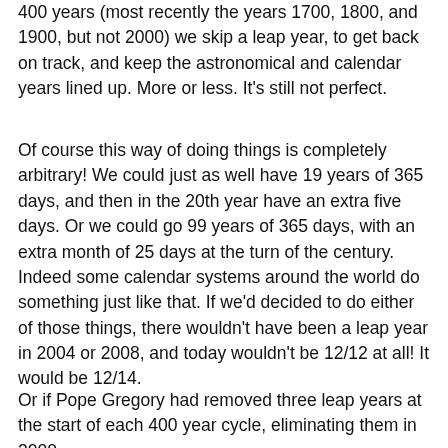400 years (most recently the years 1700, 1800, and 1900, but not 2000) we skip a leap year, to get back on track, and keep the astronomical and calendar years lined up. More or less. It's still not perfect.
Of course this way of doing things is completely arbitrary! We could just as well have 19 years of 365 days, and then in the 20th year have an extra five days. Or we could go 99 years of 365 days, with an extra month of 25 days at the turn of the century. Indeed some calendar systems around the world do something just like that. If we'd decided to do either of those things, there wouldn't have been a leap year in 2004 or 2008, and today wouldn't be 12/12 at all! It would be 12/14.
Or if Pope Gregory had removed three leap years at the start of each 400 year cycle, eliminating them in 2000, 2100 and 2200 instead of in 2100, 2200 and 2300, then...